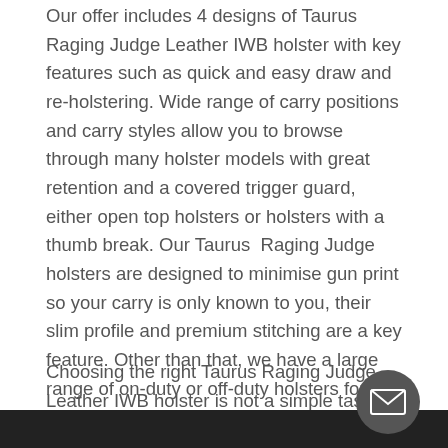Our offer includes 4 designs of Taurus Raging Judge Leather IWB holster with key features such as quick and easy draw and re-holstering. Wide range of carry positions and carry styles allow you to browse through many holster models with great retention and a covered trigger guard, either open top holsters or holsters with a thumb break. Our Taurus Raging Judge holsters are designed to minimise gun print so your carry is only known to you, their slim profile and premium stitching are a key feature. Other than that, we have a large range of on-duty or off-duty holsters for your daily carry.
Choosing the right Taurus Raging Judge Leather IWB holster is not a simple task. Inside the waistband holsters vary in materials and in carry positions. Putting your gun inside the pants means hiding your firearm in plain sight and these holsters also come with a minimal gun print and